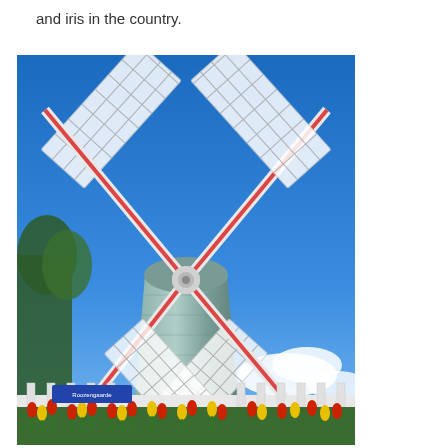and iris in the country.
[Figure (photo): A Dutch-style windmill photographed from a low angle looking up, with white lattice sails extending outward against a bright blue sky with some clouds. The windmill tower is light blue/grey brick. At the base there are colorful tulips and flowers in red and yellow. A sign partially visible near the base reads 'Roozengaarde'. Green trees visible in background on left side.]